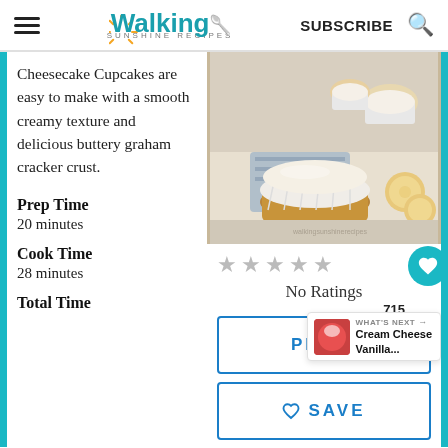Walking Sunshine Recipes — SUBSCRIBE
Cheesecake Cupcakes are easy to make with a smooth creamy texture and delicious buttery graham cracker crust.
Prep Time
20 minutes
Cook Time
28 minutes
Total Time
[Figure (photo): Mini cheesecake cupcakes on a rack with graham cracker crust, white paper liners, with vanilla wafers in background]
No Ratings
715
PRINT
WHAT'S NEXT → Cream Cheese Vanilla...
SAVE